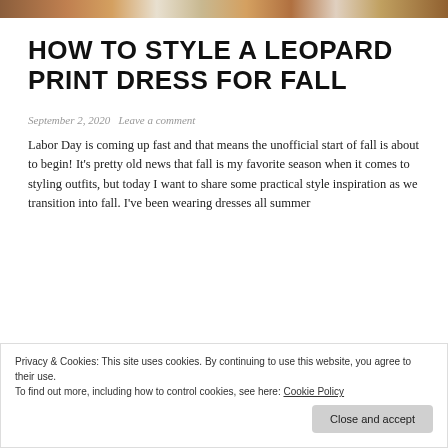[Figure (photo): Cropped photo strip showing a person wearing a leopard print dress, warm earthy tones visible at top of page]
HOW TO STYLE A LEOPARD PRINT DRESS FOR FALL
September 2, 2020    Leave a comment
Labor Day is coming up fast and that means the unofficial start of fall is about to begin! It’s pretty old news that fall is my favorite season when it comes to styling outfits, but today I want to share some practical style inspiration as we transition into fall. I’ve been wearing dresses all summer
Privacy & Cookies: This site uses cookies. By continuing to use this website, you agree to their use.
To find out more, including how to control cookies, see here: Cookie Policy
Close and accept
into how to style a leopard print dress for fall.